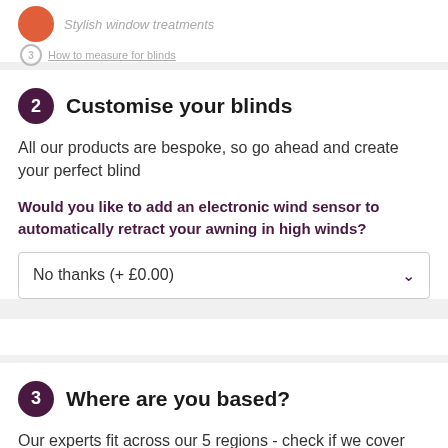Stylish window treatments
How to measure for blinds
2 Customise your blinds
All our products are bespoke, so go ahead and create your perfect blind
Would you like to add an electronic wind sensor to automatically retract your awning in high winds?
No thanks (+ £0.00)
3 Where are you based?
Our experts fit across our 5 regions - check if we cover